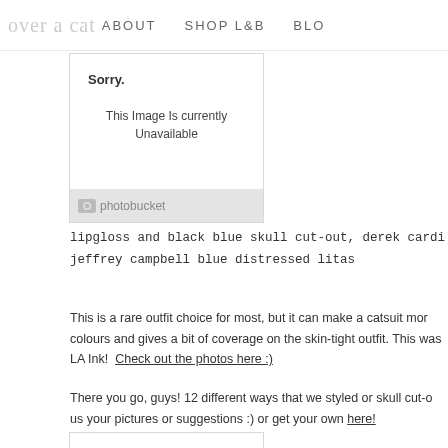over a cat  ABOUT  SHOP L&B  BLO
[Figure (screenshot): Photobucket placeholder box showing 'Sorry. This Image Is Currently Unavailable' with photobucket logo at bottom]
lipgloss and black blue skull cut-out, derek cardigan 7006 black glasses, blackmil jeffrey campbell blue distressed litas
This is a rare outfit choice for most, but it can make a catsuit mor colours and gives a bit of coverage on the skin-tight outfit. This was LA Ink! Check out the photos here :)
There you go, guys! 12 different ways that we styled or skull cut-o us your pictures or suggestions :) or get your own here!